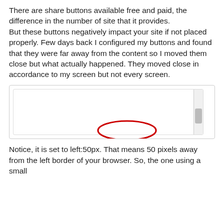There are share buttons available free and paid, the difference in the number of site that it provides. But these buttons negatively impact your site if not placed properly. Few days back I configured my buttons and found that they were far away from the content so I moved them close but what actually happened. They moved close in accordance to my screen but not every screen.
[Figure (screenshot): Screenshot of code editor showing CSS code for share buttons with 'left:50px' circled in red. Code: <!--Share Buttons Code Start--><style> #pageshare {position:fixed; bottom:15% left:50px; float:left; border: 0px solid black; border-radius:5px;-moz-border-radius:5px;-webkit-border-radius:5px;background-color:#ffffff;padding:0 0 2px]
Notice, it is set to left:50px. That means 50 pixels away from the left border of your browser. So, the one using a small